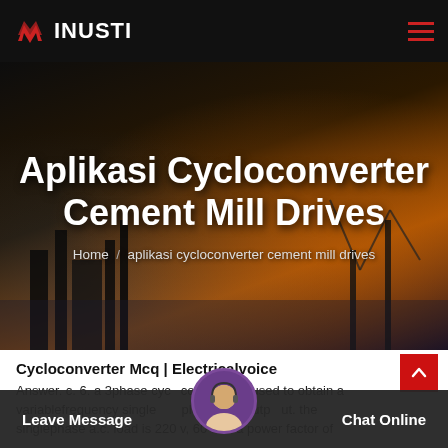INUSTI
[Figure (screenshot): Industrial background hero banner with power plant/cement mill silhouettes at dusk with orange sky]
Aplikasi Cycloconverter Cement Mill Drives
Home / aplikasi cycloconverter cement mill drives
Cycloconverter Mcq | Electricalvoice
Answer. c. 6. a 3phase cycloconverter is used to obtain a variablefrequency single phase a.c. output. the singlephase a.c. load is 220 v, 60 a at a power factor of
Leave Message   Chat Online